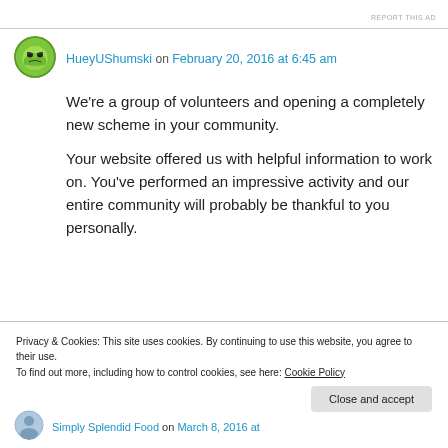REPORT THIS AD
[Figure (illustration): Green cartoon avatar with angry face, circular]
HueyUShumski on February 20, 2016 at 6:45 am
We're a group of volunteers and opening a completely new scheme in your community.

Your website offered us with helpful information to work on. You've performed an impressive activity and our entire community will probably be thankful to you personally.
Privacy & Cookies: This site uses cookies. By continuing to use this website, you agree to their use.
To find out more, including how to control cookies, see here: Cookie Policy
Close and accept
[Figure (photo): Small circular avatar for Simply Splendid Food commenter]
Simply Splendid Food on March 8, 2016 at